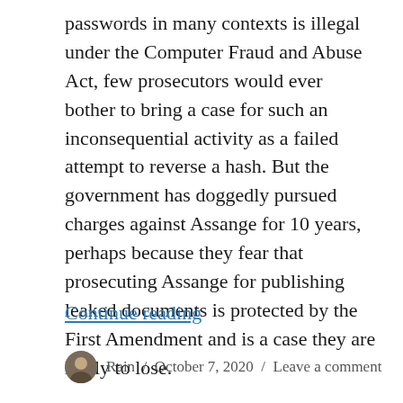passwords in many contexts is illegal under the Computer Fraud and Abuse Act, few prosecutors would ever bother to bring a case for such an inconsequential activity as a failed attempt to reverse a hash. But the government has doggedly pursued charges against Assange for 10 years, perhaps because they fear that prosecuting Assange for publishing leaked documents is protected by the First Amendment and is a case they are likely to lose.
Continue reading
Rain / October 7, 2020 / Leave a comment